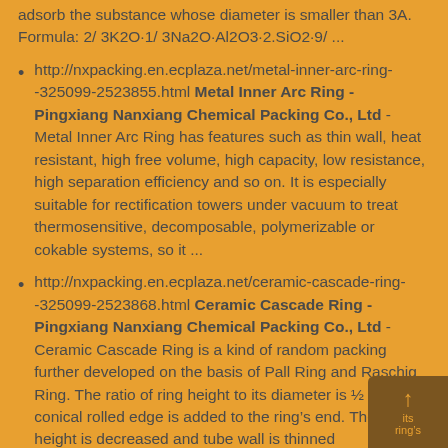adsorb the substance whose diameter is smaller than 3A. Formula: 2/ 3K2O·1/ 3Na2O·Al2O3·2.SiO2·9/ ...
http://nxpacking.en.ecplaza.net/metal-inner-arc-ring--325099-2523855.html Metal Inner Arc Ring - Pingxiang Nanxiang Chemical Packing Co., Ltd - Metal Inner Arc Ring has features such as thin wall, heat resistant, high free volume, high capacity, low resistance, high separation efficiency and so on. It is especially suitable for rectification towers under vacuum to treat thermosensitive, decomposable, polymerizable or cokable systems, so it ...
http://nxpacking.en.ecplaza.net/ceramic-cascade-ring--325099-2523868.html Ceramic Cascade Ring - Pingxiang Nanxiang Chemical Packing Co., Ltd - Ceramic Cascade Ring is a kind of random packing further developed on the basis of Pall Ring and Raschig Ring. The ratio of ring height to its diameter is ½ and a conical rolled edge is added to the ring's end. The ring's height is decreased and tube wall is thinned